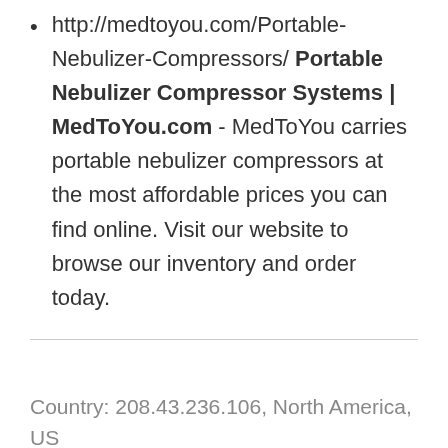http://medtoyou.com/Portable-Nebulizer-Compressors/ Portable Nebulizer Compressor Systems | MedToYou.com - MedToYou carries portable nebulizer compressors at the most affordable prices you can find online. Visit our website to browse our inventory and order today.
Country: 208.43.236.106, North America, US
City: -77.4512 Virginia, United States